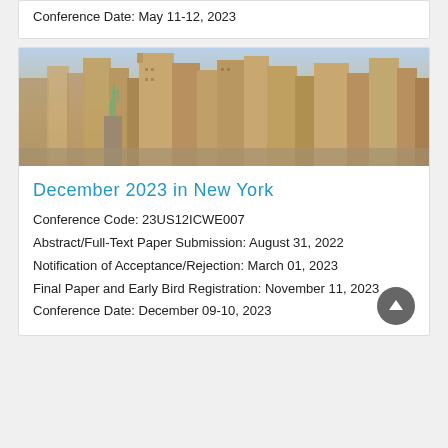Conference Date: May 11-12, 2023
[Figure (photo): Aerial/skyline photo of New York City with Statue of Liberty and Manhattan skyscrapers]
December 2023 in New York
Conference Code: 23US12ICWE007
Abstract/Full-Text Paper Submission: August 31, 2022
Notification of Acceptance/Rejection: March 01, 2023
Final Paper and Early Bird Registration: November 11, 2023
Conference Date: December 09-10, 2023